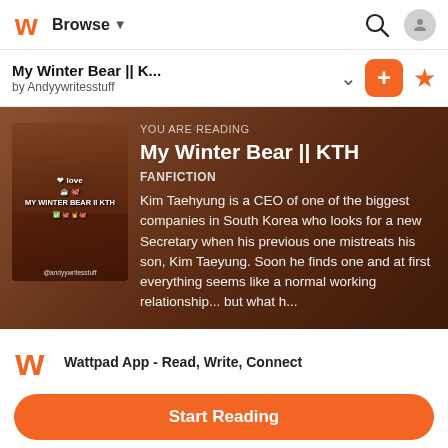Browse
My Winter Bear || K...
by Andyywritesstuff
[Figure (screenshot): Wattpad book cover for 'My Winter Bear || KTH' showing two people with decorative emoji stickers and the author name Andyywritesstuff]
YOU ARE READING
My Winter Bear || KTH
FANFICTION
Kim Taehyung is a CEO of one of the biggest companies in South Korea who looks for a new Secretary when his previous one mistreats his son, Kim Taeyung. Soon he finds one and at first everything seems like a normal working relationship... but what h...
Wattpad App - Read, Write, Connect
Start Reading
Log in with Browser